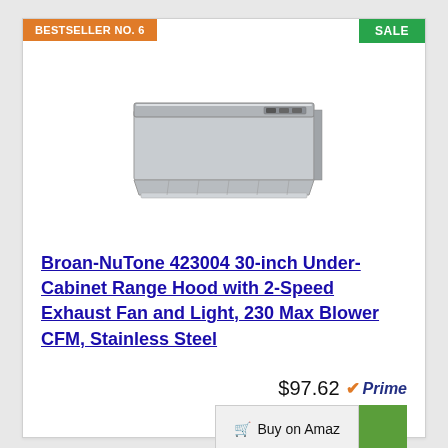BESTSELLER NO. 6
SALE
[Figure (photo): Broan-NuTone 423004 stainless steel under-cabinet range hood, front view]
Broan-NuTone 423004 30-inch Under-Cabinet Range Hood with 2-Speed Exhaust Fan and Light, 230 Max Blower CFM, Stainless Steel
$97.62 Prime
Buy on Amaz